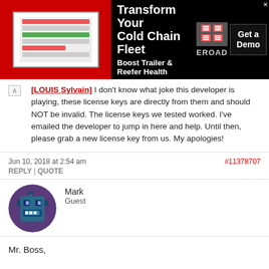[Figure (other): Advertisement banner for EROAD: Transform Your Cold Chain Fleet, Boost Trailer & Reefer Health, Get a Demo]
[LOUIS Sylvain] I don't know what joke this developer is playing, these license keys are directly from them and should NOT be invalid. The license keys we tested worked. I've emailed the developer to jump in here and help. Until then, please grab a new license key from us. My apologies!
Jun 10, 2018 at 2:54 am   #11378707
REPLY | QUOTE
Mark
Guest
[Figure (illustration): User avatar icon for Mark - pixelated robot/alien face in teal and blue colors on circular background]
Mr. Boss,

I got the same error as the others: "the license key is not valid, please try again".

Regards,